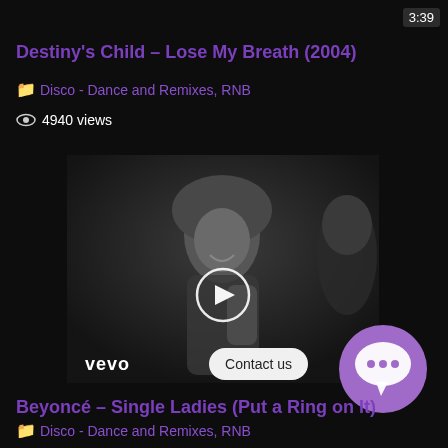3:39
Destiny's Child – Lose My Breath (2004)
Disco - Dance and Remixes, RNB
4940 views
[Figure (screenshot): Black and white music video thumbnail showing a woman smiling with hair blowing, vevo watermark, play button overlay]
Contact us
[Figure (illustration): Purple circular chat/contact button with ellipsis speech bubble]
Beyoncé – Single Ladies (Put a Ring on It)
Disco - Dance and Remixes, RNB